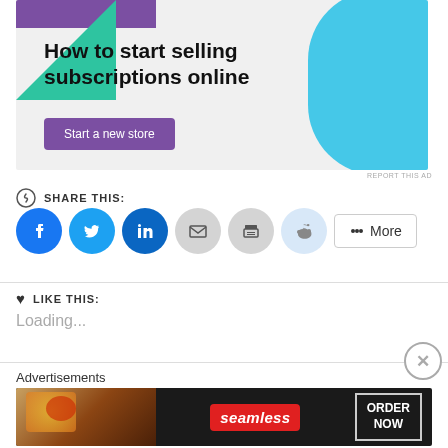[Figure (illustration): Advertisement banner with purple and green geometric shapes on left, blue curved shape on right, gray background. Text: 'How to start selling subscriptions online' with a purple 'Start a new store' button.]
REPORT THIS AD
SHARE THIS:
[Figure (infographic): Social share buttons: Facebook (blue circle), Twitter (blue circle), LinkedIn (dark blue circle), Email (gray circle), Print (gray circle), Reddit (light blue circle), and a More button with share icon.]
LIKE THIS:
Loading...
Advertisements
[Figure (photo): Seamless food delivery advertisement showing pizza on dark background with Seamless logo and ORDER NOW button.]